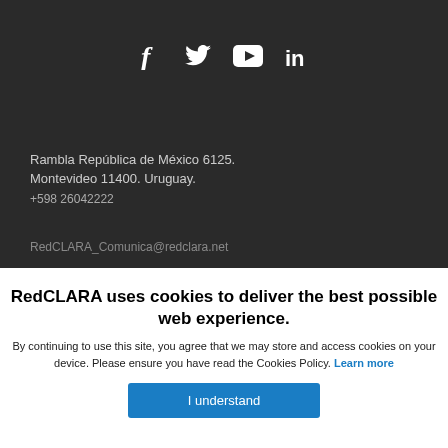[Figure (infographic): Social media icons: Facebook, Twitter, YouTube, LinkedIn in white on dark background]
Rambla República de México 6125.
Montevideo 11400. Uruguay.
+598 26042222
RedCLARA_Comunica@redclara.net
RedCLARA uses cookies to deliver the best possible web experience.
By continuing to use this site, you agree that we may store and access cookies on your device. Please ensure you have read the Cookies Policy. Learn more
I understand